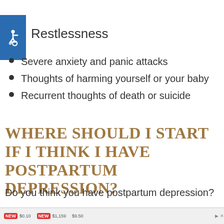[Figure (logo): Blue square accessibility/wheelchair icon]
Restlessness
Severe anxiety and panic attacks
Thoughts of harming yourself or your baby
Recurrent thoughts of death or suicide
WHERE SHOULD I START IF I THINK I HAVE POSTPARTUM DEPRESSION?
Do you think you have postpartum depression?
[Figure (screenshot): Advertisement banner showing products with prices: $0.10, $1,159, $9.50 with NEW labels]